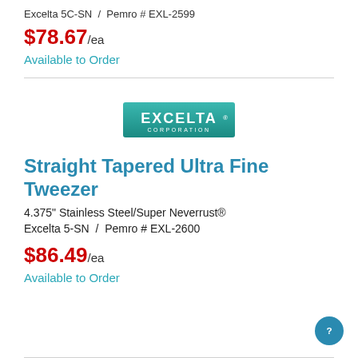Excelta 5C-SN  /  Pemro # EXL-2599
$78.67/ea
Available to Order
[Figure (logo): Excelta Corporation logo — teal/green rectangular badge with white text]
Straight Tapered Ultra Fine Tweezer
4.375" Stainless Steel/Super Neverrust®
Excelta 5-SN  /  Pemro # EXL-2600
$86.49/ea
Available to Order